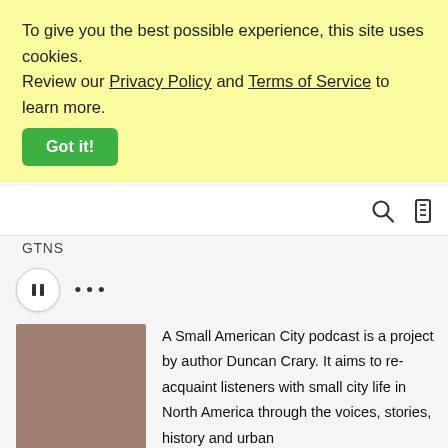To give you the best possible experience, this site uses cookies. Review our Privacy Policy and Terms of Service to learn more.
Got it!
[Figure (screenshot): Toolbar area with search and menu icons on the right side]
GTNS
▶ ...
[Figure (photo): Brownish-rose colored square thumbnail image for A Small American City podcast]
A Small American City podcast is a project by author Duncan Crary. It aims to re-acquaint listeners with small city life in North America through the voices, stories, history and urban fabric of his home city of Troy, New York. The program features spoken-word essays and intimate conversations with a cast of characters who bring this unusual Hudson River settlement to life.